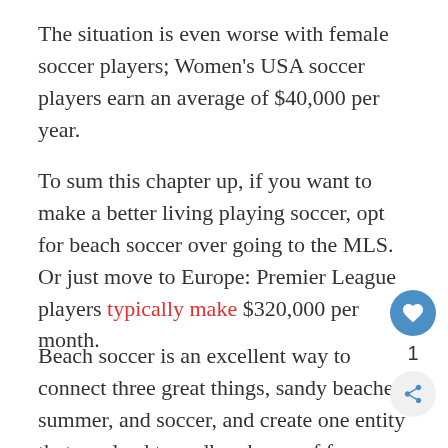The situation is even worse with female soccer players; Women's USA soccer players earn an average of $40,000 per year.
To sum this chapter up, if you want to make a better living playing soccer, opt for beach soccer over going to the MLS. Or just move to Europe: Premier League players typically make $320,000 per month.
Beach soccer is an excellent way to connect three great things, sandy beaches, summer, and soccer, and create one entity that can lead to endless hours of fun.